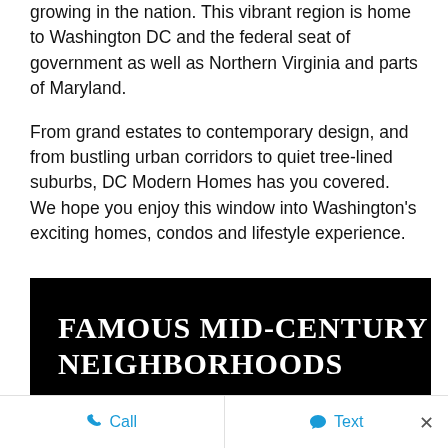growing in the nation. This vibrant region is home to Washington DC and the federal seat of government as well as Northern Virginia and parts of Maryland.
From grand estates to contemporary design, and from bustling urban corridors to quiet tree-lined suburbs, DC Modern Homes has you covered. We hope you enjoy this window into Washington's exciting homes, condos and lifestyle experience.
[Figure (other): Black banner with white serif uppercase text reading FAMOUS MID-CENTURY NEIGHBORHOODS]
Call   Text